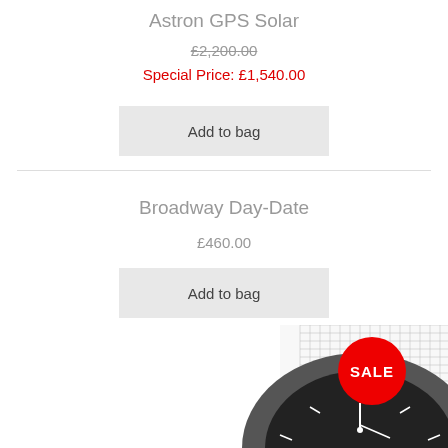Astron GPS Solar
£2,200.00
Special Price: £1,540.00
Add to bag
Broadway Day-Date
£460.00
Add to bag
[Figure (photo): Close-up photo of a watch with a mesh/grid-pattern metal bracelet and a round dark dial showing hour markers and the number 12. A red SALE badge is overlaid in the top-right area of the image.]